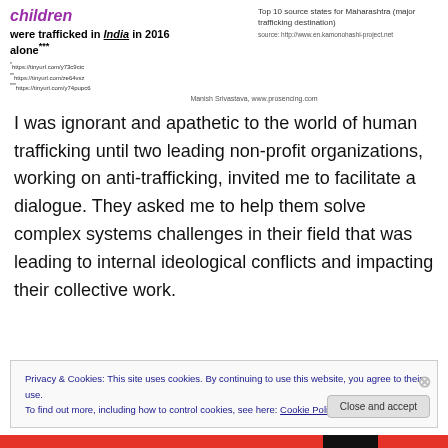children
were trafficked in India in 2016 alone***
Top 10 source states for Maharashtra (major trafficking destination)
source: http://www.en.kamonohashi-project.net
*https://tinyurl.com/y73c9ctc
**https://tinyurl.com/ze64vsz
***https://tinyurl.com/y74pupc6
Manish Srivastava, www.prosencing.com
I was ignorant and apathetic to the world of human trafficking until two leading non-profit organizations, working on anti-trafficking, invited me to facilitate a dialogue. They asked me to help them solve complex systems challenges in their field that was leading to internal ideological conflicts and impacting their collective work.
Privacy & Cookies: This site uses cookies. By continuing to use this website, you agree to their use.
To find out more, including how to control cookies, see here: Cookie Policy
Close and accept